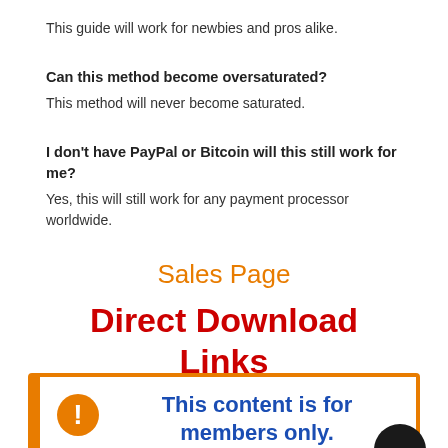This guide will work for newbies and pros alike.
Can this method become oversaturated?
This method will never become saturated.
I don't have PayPal or Bitcoin will this still work for me?
Yes, this will still work for any payment processor worldwide.
Sales Page
Direct Download Links Below
[Figure (infographic): Orange-bordered box with warning icon and blue bold text: 'This content is for members only.']